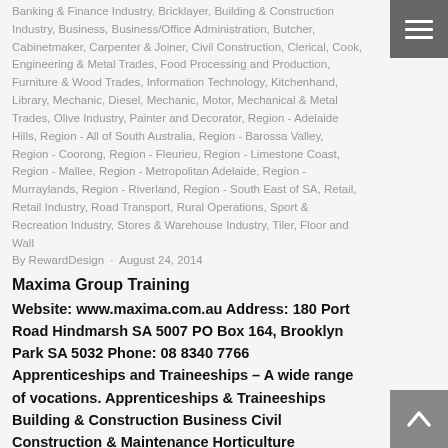Banking & Finance Industry, Bricklayer, Building & Construction Industry, Business, Business/Office Administration, Butcher, Cabinetmaker, Carpenter & Joiner, Civil Construction, Clerical, Cook, Engineering & Metal Trades, Food Processing and Production, Furniture & Wood Trades, Information Technology, Kitchenhand, Library, Mechanic, Diesel, Mechanic, Motor, Mechanical & Metal Trades, Olive Industry, Painter and Decorator, Region - Adelaide Hills, Region - All of South Australia, Region - Barossa Valley, Region - Coorong, Region - Fleurieu, Region - Limestone Coast, Region - Mallee, Region - Metropolitan Adelaide, Region - Murraylands, Region - Riverland, Region - South East of SA, Retail, Retail Industry, Road Transport, Rural Operations, Sport & Recreation Industry, Stores & Warehouse Industry, Tiler, Floor and Wall
By RewardDesign · August 24, 2014
Maxima Group Training
Website: www.maxima.com.au Address: 180 Port Road Hindmarsh SA 5007 PO Box 164, Brooklyn Park SA 5032 Phone: 08 8340 7766
Apprenticeships and Traineeships – A wide range of vocations. Apprenticeships & Traineeships Building & Construction Business Civil Construction & Maintenance Horticulture Landscaping Information